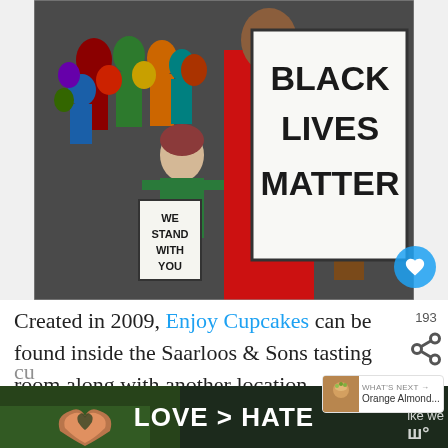[Figure (illustration): Painting/illustration showing diverse group of people at a protest. A person in red holds a large sign reading 'BLACK LIVES MATTER'. Another figure holds a sign reading 'WE STAND WITH YOU'. Colorful crowd of people in background.]
Created in 2009, Enjoy Cupcakes can be found inside the Saarloos & Sons tasting room along with another location Barbara, California. You can buy the little
[Figure (photo): Bottom advertisement banner showing two hands forming a heart shape, with text 'LOVE > HATE' in white on dark background.]